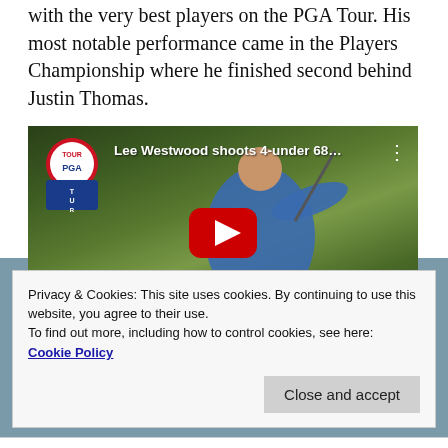with the very best players on the PGA Tour. His most notable performance came in the Players Championship where he finished second behind Justin Thomas.
[Figure (screenshot): YouTube video thumbnail showing Lee Westwood swinging a golf club, with PGA Tour logo in top left corner and title 'Lee Westwood shoots 4-under 68...' The video has a red play button overlay and 'HIGHLIGHTS' text at the bottom.]
Privacy & Cookies: This site uses cookies. By continuing to use this website, you agree to their use.
To find out more, including how to control cookies, see here: Cookie Policy
Close and accept